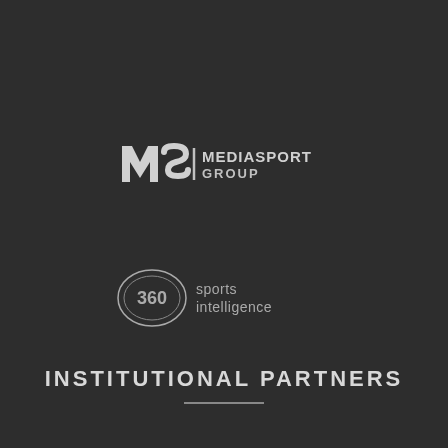[Figure (logo): MSG MediaSport Group logo in white/grey on dark background]
[Figure (logo): 360 sports intelligence logo in grey on dark background]
INSTITUTIONAL PARTNERS